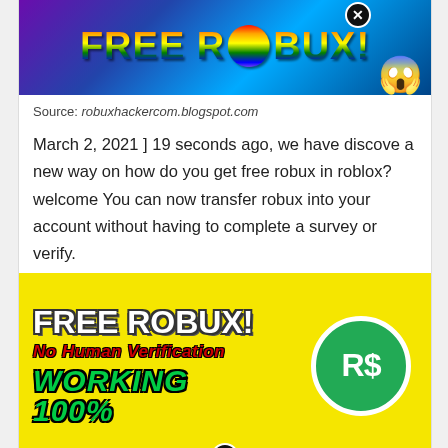[Figure (illustration): Colorful rainbow gradient banner ad with text 'FREE ROBUX!' in rainbow letters on a dark purple/blue background, with a scared face emoji and a close (X) button.]
Source: robuxhackercom.blogspot.com
March 2, 2021 ] 19 seconds ago, we have discove a new way on how do you get free robux in roblox?welcome You can now transfer robux into your account without having to complete a survey or verify.
[Figure (illustration): Yellow background ad banner with text 'FREE ROBUX!' in white bold letters, 'No Human Verification' in red italic, 'WORKING 100%' in green italic, and a green circle with 'R$' logo on the right. Has a close (X) button at bottom center.]